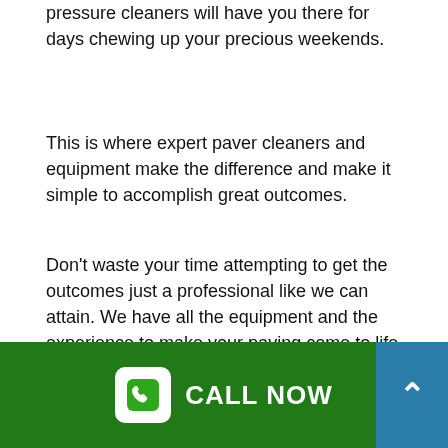before your eyes. Also the work rate of little pressure cleaners will have you there for days chewing up your precious weekends.
This is where expert paver cleaners and equipment make the difference and make it simple to accomplish great outcomes.
Don't waste your time attempting to get the outcomes just a professional like we can attain. We have all the equipment and the experience to make your paving come to life when again.
[Figure (photo): Close-up photograph of a brick wall/paving surface showing aged reddish-brown bricks with mortar joints]
CALL NOW